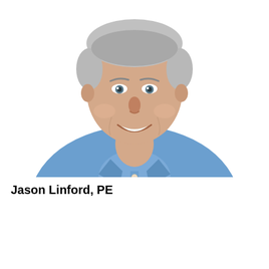[Figure (photo): Headshot photo of Jason Linford, PE — a middle-aged man with short gray hair, smiling, wearing a blue button-down shirt, against a white background.]
Jason Linford, PE